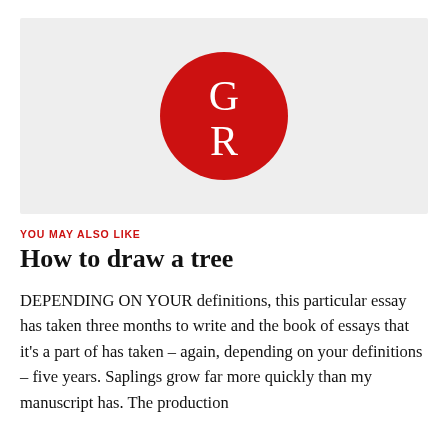[Figure (logo): Red circle logo with letters G and R in white serif font on a light grey rectangular background]
YOU MAY ALSO LIKE
How to draw a tree
DEPENDING ON YOUR definitions, this particular essay has taken three months to write and the book of essays that it’s a part of has taken – again, depending on your definitions – five years. Saplings grow far more quickly than my manuscript has. The production timelines of a manuscript book in a similar